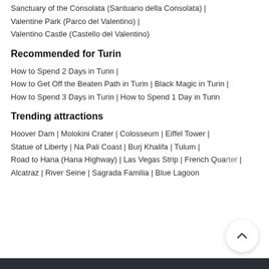Sanctuary of the Consolata (Santuario della Consolata) |
Valentine Park (Parco del Valentino) |
Valentino Castle (Castello del Valentino)
Recommended for Turin
How to Spend 2 Days in Turin |
How to Get Off the Beaten Path in Turin | Black Magic in Turin |
How to Spend 3 Days in Turin | How to Spend 1 Day in Turin
Trending attractions
Hoover Dam | Molokini Crater | Colosseum | Eiffel Tower |
Statue of Liberty | Na Pali Coast | Burj Khalifa | Tulum |
Road to Hana (Hana Highway) | Las Vegas Strip | French Quarter |
Alcatraz | River Seine | Sagrada Familia | Blue Lagoon